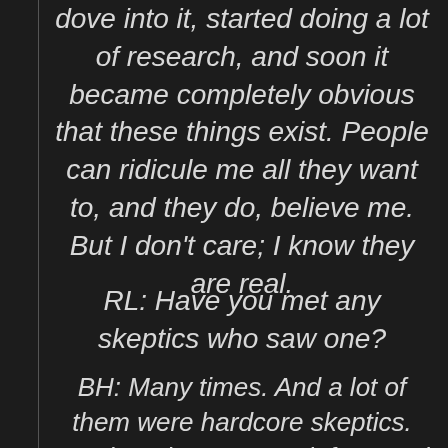dove into it, started doing a lot of research, and soon it became completely obvious that these things exist. People can ridicule me all they want to, and they do, believe me. But I don't care; I know they are real.
RL: Have you met any skeptics who saw one?
BH: Many times. And a lot of them were hardcore skeptics. But then they saw a Bigfoot, and they all changed over to believers. They said that their